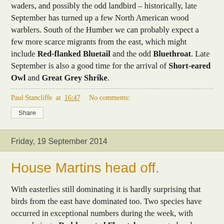waders, and possibly the odd landbird – historically, late September has turned up a few North American wood warblers. South of the Humber we can probably expect a few more scarce migrants from the east, which might include Red-flanked Bluetail and the odd Bluethroat. Late September is also a good time for the arrival of Short-eared Owl and Great Grey Shrike.
Paul Stancliffe at 16:47   No comments:
Share
Friday, 19 September 2014
House Martins head off.
With easterlies still dominating it is hardly surprising that birds from the east have dominated too. Two species have occurred in exceptional numbers during the week, with around ninety Red-breasted Flycatchers reported and a similar number of Yellow-browed Warblers, with at least